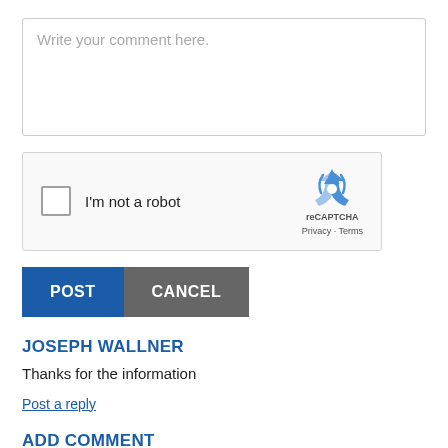[Figure (screenshot): Text area input field with placeholder text 'Write your comment here.']
[Figure (screenshot): reCAPTCHA widget with checkbox labeled 'I'm not a robot', reCAPTCHA logo, Privacy and Terms links]
POST
CANCEL
JOSEPH WALLNER
Thanks for the information
Post a reply
ADD COMMENT
Email